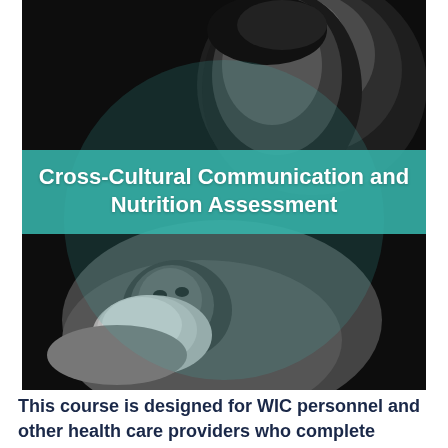[Figure (photo): Black and white photograph of a mother and infant baby, with the mother looking down at the baby she is holding]
Cross-Cultural Communication and Nutrition Assessment
This course is designed for WIC personnel and other health care providers who complete nutrition assessments. Awareness of cross-cultural communication allows WIC personnel to create a more rich and enhanced assessment and counseling experiences with